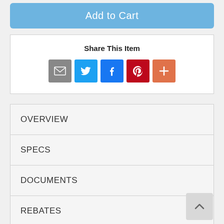Add to Cart
Share This Item
[Figure (infographic): Social share icons: email (grey), Twitter (blue bird), Facebook (blue f), Pinterest (red P), More (orange plus)]
OVERVIEW
SPECS
DOCUMENTS
REBATES
VIDEOS